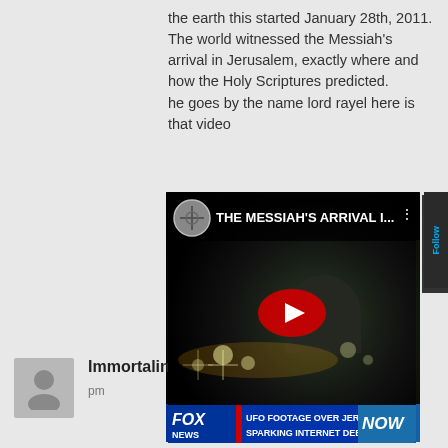the earth this started January 28th, 2011. The world witnessed the Messiah's arrival in Jerusalem, exactly where and how the Holy Scriptures predicted. he goes by the name lord rayel here is that video
[Figure (screenshot): YouTube video thumbnail titled 'THE MESSIAH'S ARRIVAL I...' showing a night scene of Jerusalem with UFO footage. Fox News lower-third banner reads: 'UFO FOOTAGE OVER JERUSALEM SPARKING INTERNET DEBATE']
REPLY
ImmortalinChrist on September 12th, 2015 at 11:26 pm